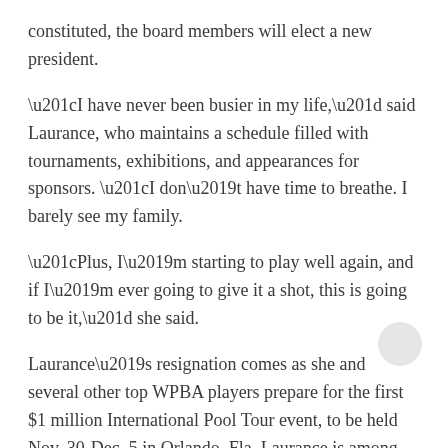constituted, the board members will elect a new president.
“I have never been busier in my life,” said Laurance, who maintains a schedule filled with tournaments, exhibitions, and appearances for sponsors. “I don’t have time to breathe. I barely see my family.
“Plus, I’m starting to play well again, and if I’m ever going to give it a shot, this is going to be it,” she said.
Laurance’s resignation comes as she and several other top WPBA players prepare for the first $1 million International Pool Tour event, to be held Nov. 30-Dec. 5 in Orlando, Fla. Laurance is among 12 Hall-of-Famers who will participate in the “King of the Hill” event, which has promised prizes of at least $30,000 to each Hall member participating.
Laurance also is among the 150 players pegged to participate